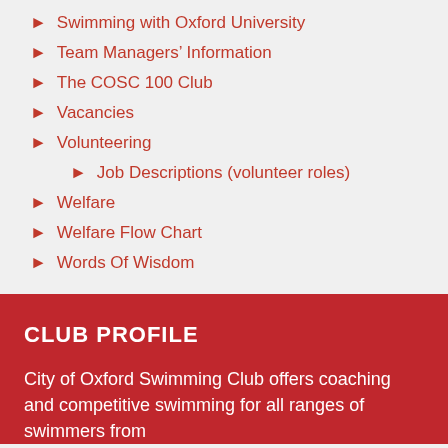Swimming with Oxford University
Team Managers' Information
The COSC 100 Club
Vacancies
Volunteering
Job Descriptions (volunteer roles)
Welfare
Welfare Flow Chart
Words Of Wisdom
CLUB PROFILE
City of Oxford Swimming Club offers coaching and competitive swimming for all ranges of swimmers from